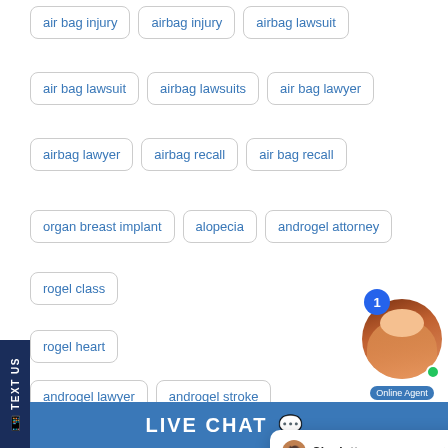air bag injury
airbag injury
airbag lawsuit
air bag lawsuit
airbag lawsuits
air bag lawyer
airbag lawyer
airbag recall
air bag recall
organ breast implant
alopecia
androgel attorney
rogel class
rogel heart
androgel lawyer
androgel stroke
anesthesia children
anesthesia infants
[Figure (screenshot): Chat popup from Charlotte at Borgess Law, LLC saying 'Welcome to Borgess Law, LLC! How can we help you?']
[Figure (photo): Online Agent - woman with red hair, smiling, with notification badge showing 1 and green online dot]
TEXT US
LIVE CHAT